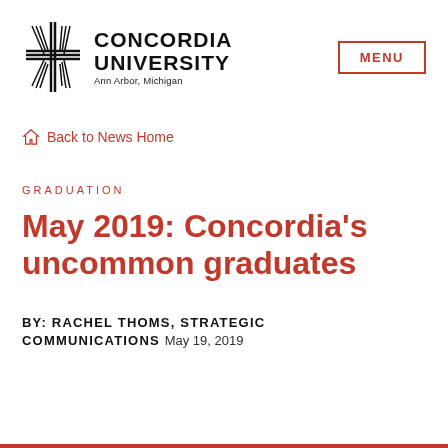[Figure (logo): Concordia University Ann Arbor Michigan logo with cross symbol]
MENU
🏠 Back to News Home
GRADUATION
May 2019: Concordia's uncommon graduates
BY: RACHEL THOMS, STRATEGIC COMMUNICATIONS May 19, 2019